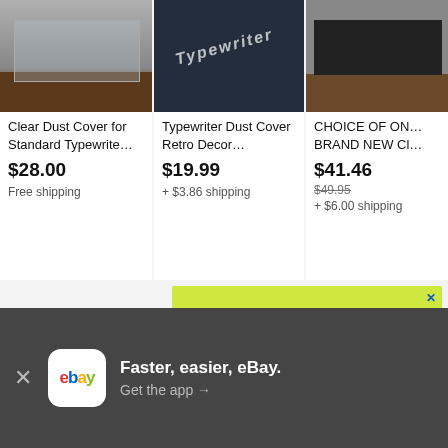[Figure (photo): Photo of a clear dust cover for a standard typewriter on a wooden table]
Clear Dust Cover for Standard Typewrite…
$28.00
Free shipping
[Figure (photo): Photo of a dark navy typewriter dust cover with 'Typewriter' text embroidered]
Typewriter Dust Cover Retro Decor…
$19.99
+ $3.86 shipping
[Figure (photo): Photo of a black vintage typewriter on a wooden surface]
CHOICE OF ON… BRAND NEW Cl…
$41.46
$49.95
+ $6.00 shipping
[Figure (screenshot): Yellow-green PayPal Credit advertisement banner with text 'Pay over time with PayPal Credit']
Pay over time with PayPal Credit
Faster, easier, eBay. Get the app →